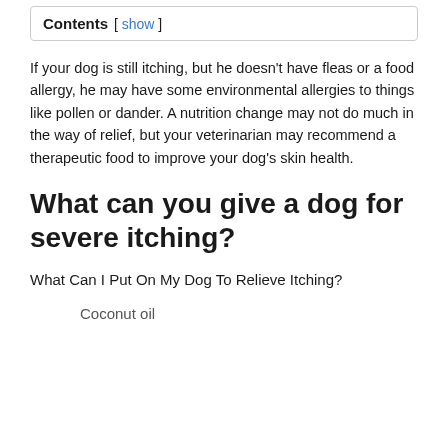Contents [ show ]
If your dog is still itching, but he doesn’t have fleas or a food allergy, he may have some environmental allergies to things like pollen or dander. A nutrition change may not do much in the way of relief, but your veterinarian may recommend a therapeutic food to improve your dog’s skin health.
What can you give a dog for severe itching?
What Can I Put On My Dog To Relieve Itching?
Coconut oil